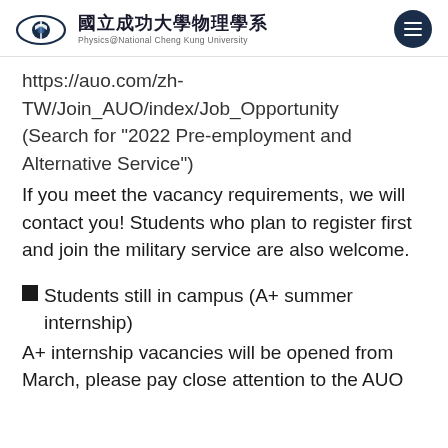國立成功大學物理學系 Physics@National Cheng Kung University
https://auo.com/zh-TW/Join_AUO/index/Job_Opportunity (Search for "2022 Pre-employment and Alternative Service")
If you meet the vacancy requirements, we will contact you! Students who plan to register first and join the military service are also welcome.
■ Students still in campus (A+ summer internship)
A+ internship vacancies will be opened from March, please pay close attention to the AUO